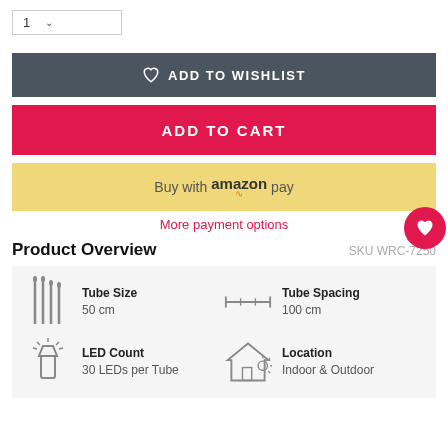[Figure (screenshot): Quantity selector showing '1' with a dropdown arrow]
[Figure (screenshot): Add to Wishlist button (dark slate grey with heart icon)]
[Figure (screenshot): Add to Cart button (crimson/pink red)]
[Figure (screenshot): Buy with amazon pay button (yellow/gold)]
More payment options
Product Overview
SKU WRC-7250
| Tube Size | 50 cm | Tube Spacing | 100 cm |
| LED Count | 30 LEDs per Tube | Location | Indoor & Outdoor |